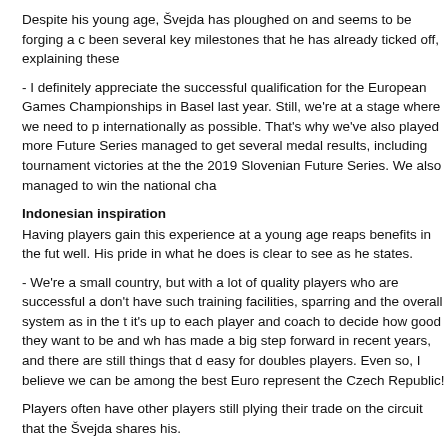Despite his young age, Švejda has ploughed on and seems to be forging a c… been several key milestones that he has already ticked off, explaining these…
- I definitely appreciate the successful qualification for the European Games… Championships in Basel last year. Still, we're at a stage where we need to p… internationally as possible. That's why we've also played more Future Series… managed to get several medal results, including tournament victories at the… the 2019 Slovenian Future Series. We also managed to win the national cha…
Indonesian inspiration
Having players gain this experience at a young age reaps benefits in the fut… well. His pride in what he does is clear to see as he states.
- We're a small country, but with a lot of quality players who are successful a… don't have such training facilities, sparring and the overall system as in the t… it's up to each player and coach to decide how good they want to be and wh… has made a big step forward in recent years, and there are still things that d… easy for doubles players. Even so, I believe we can be among the best Euro… represent the Czech Republic!
Players often have other players still plying their trade on the circuit that the… Švejda shares his.
- My big inspiration is Indonesian doubles. Their incredible speed, creativity… behold. My favourite players are Kevin Sanjaya Sukamuljo and Hendra Setia… the Indonesian centre PB Jaya Raya and had the opportunity to train with go… experience for me, and I took a lot from it!
I can do what I love